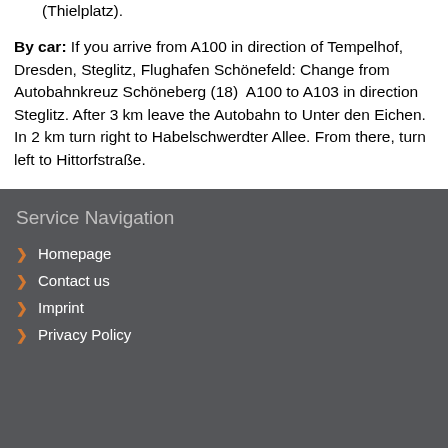(Thielplatz).
By car: If you arrive from A100 in direction of Tempelhof, Dresden, Steglitz, Flughafen Schönefeld: Change from Autobahnkreuz Schöneberg (18)  A100 to A103 in direction Steglitz. After 3 km leave the Autobahn to Unter den Eichen. In 2 km turn right to Habelschwerdter Allee. From there, turn left to Hittorfstraße.
Service Navigation
Homepage
Contact us
Imprint
Privacy Policy